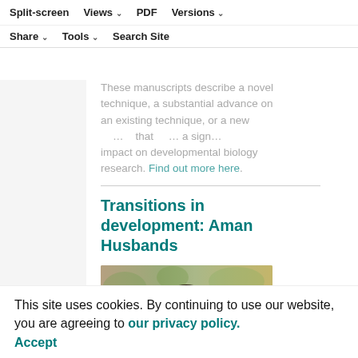Split-screen  Views  PDF  Versions  Share  Tools  Search Site
These manuscripts describe a novel technique, a substantial advance on an existing technique, or a new ... that ... a significant impact on developmental biology research. Find out more here.
Transitions in development: Aman Husbands
[Figure (photo): Portrait photo of Aman Husbands, a man smiling outdoors with green foliage in the background]
focuses on how HD-ZIPIII transcription factors function in
This site uses cookies. By continuing to use our website, you are agreeing to our privacy policy. Accept